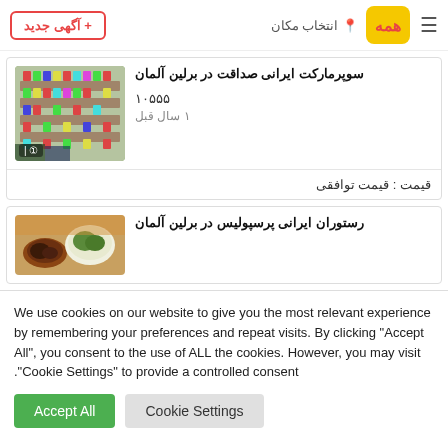+ آگهی جدید | انتخاب مکان | همه‌جا logo
[Figure (screenshot): Thumbnail image of an Iranian supermarket interior with shelves of products]
سوپرمارکت ایرانی صداقت در برلین آلمان
۱۰۵۵۵
۱ سال قبل
قیمت : قیمت توافقی
[Figure (screenshot): Thumbnail image of Iranian restaurant food dishes]
رستوران ایرانی پرسپولیس در برلین آلمان
We use cookies on our website to give you the most relevant experience by remembering your preferences and repeat visits. By clicking "Accept All", you consent to the use of ALL the cookies. However, you may visit "Cookie Settings" to provide a controlled consent.
Accept All
Cookie Settings